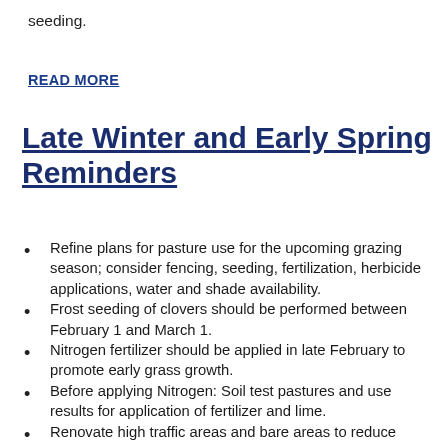seeding.
READ MORE
Late Winter and Early Spring Reminders
Refine plans for pasture use for the upcoming grazing season; consider fencing, seeding, fertilization, herbicide applications, water and shade availability.
Frost seeding of clovers should be performed between February 1 and March 1.
Nitrogen fertilizer should be applied in late February to promote early grass growth.
Before applying Nitrogen: Soil test pastures and use results for application of fertilizer and lime.
Renovate high traffic areas and bare areas to reduce